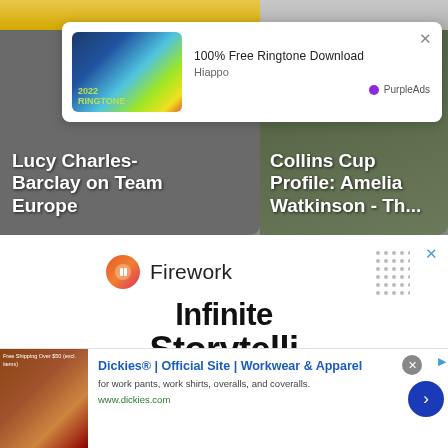[Figure (screenshot): Two video thumbnails side by side. Left: Lucy Charles-Barclay on Team Europe. Right: Collins Cup Profile: Amelia Watkinson - Th...]
[Figure (screenshot): Pop-up ad overlay: '100% Free Ringtone Download' by Hiappo, with PurpleAds branding and colorful 2022 RINGTONE image]
[Figure (screenshot): Firework app ad showing logo and 'Infinite Storytelli...' text with dots decoration and X close button]
[Figure (screenshot): Bottom banner ad for Dickies Official Site - Workwear & Apparel, with thumbnail image, description, green URL, X button, and blue arrow]